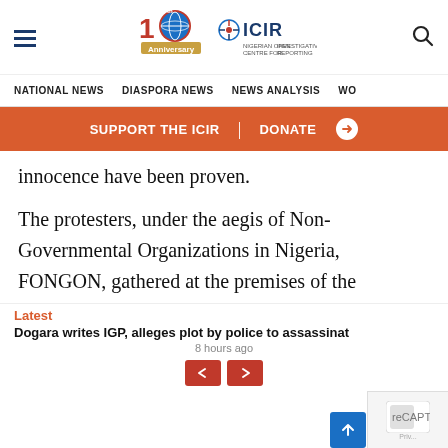ICIR Nigeria - Nigerian Investigative Centre for Investigative Reporting - 10th Anniversary 2012-2022
NATIONAL NEWS  DIASPORA NEWS  NEWS ANALYSIS  WO
SUPPORT THE ICIR  |  DONATE
innocence have been proven.
The protesters, under the aegis of Non-Governmental Organizations in Nigeria, FONGON, gathered at the premises of the Supreme Court on Wednesday wielding placards and calling on the National Judicial Council, NJC to allow the judges to
Latest
Dogara writes IGP, alleges plot by police to assassinat
8 hours ago